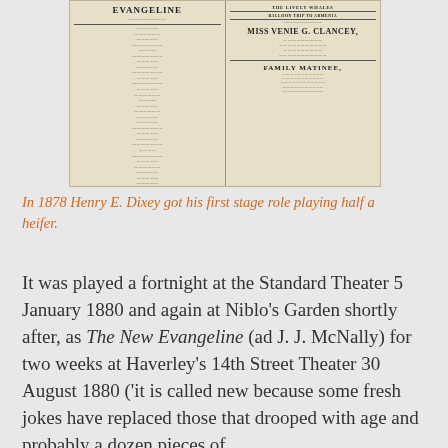[Figure (photo): Photo of an open historical newspaper/playbill showing the title 'EVANGELINE' on the left page and advertisements including 'THE LIVELY WHALES', 'BALLOON TRIP TO ARMENIA', 'MISS VENIE G. CLANCEY', and 'FAMILY MATINEE' on the right page.]
In 1878 Henry E. Dixey got his first stage role playing half a heifer.
It was played a fortnight at the Standard Theater 5 January 1880 and again at Niblo's Garden shortly after, as The New Evangeline (ad J. J. McNally) for two weeks at Haverley's 14th Street Theater 30 August 1880 ('it is called new because some fresh jokes have replaced those that drooped with age and probably a dozen pieces of